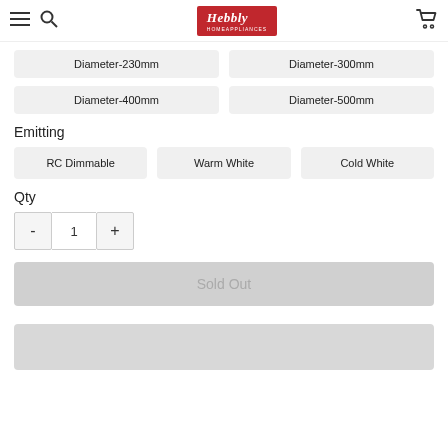Hebbly - navigation header with logo, hamburger menu, search, and cart
Diameter-230mm
Diameter-300mm
Diameter-400mm
Diameter-500mm
Emitting
RC Dimmable
Warm White
Cold White
Qty
- 1 +
Sold Out